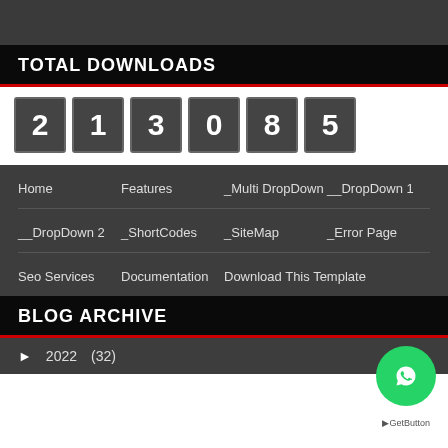TOTAL DOWNLOADS
213085
Home   Features   _Multi DropDown   __DropDown 1
__DropDown 2   _ShortCodes   _SiteMap   _Error Page
Seo Services   Documentation   Download This Template
BLOG ARCHIVE
► 2022 (32)
[Figure (logo): WhatsApp contact button (green circle with phone icon) and GetButton label]